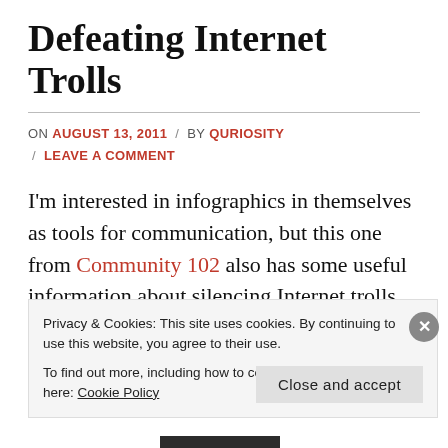Defeating Internet Trolls
ON AUGUST 13, 2011 / BY QURIOSITY / LEAVE A COMMENT
I'm interested in infographics in themselves as tools for communication, but this one from Community 102 also has some useful information about silencing Internet trolls (click on the image below to see the original at full size):
Privacy & Cookies: This site uses cookies. By continuing to use this website, you agree to their use. To find out more, including how to control cookies, see here: Cookie Policy